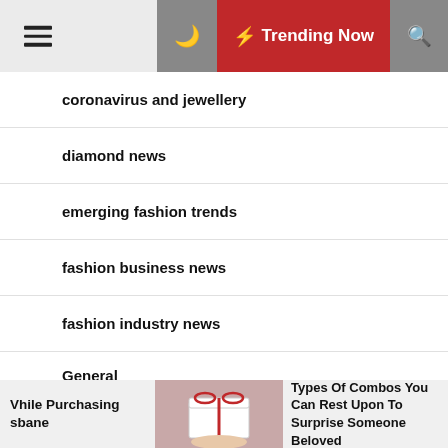☰ ☽ ⚡ Trending Now 🔍
coronavirus and jewellery
diamond news
emerging fashion trends
fashion business news
fashion industry news
General
jewelry industry coronavirus
Vhile Purchasing sbane | [image] | Types Of Combos You Can Rest Upon To Surprise Someone Beloved